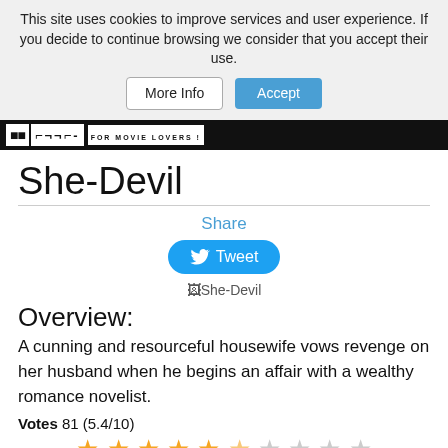This site uses cookies to improve services and user experience. If you decide to continue browsing we consider that you accept their use.
More Info   Accept
FOR MOVIE LOVERS !
She-Devil
Share
Tweet
[Figure (other): She-Devil movie image placeholder]
Overview:
A cunning and resourceful housewife vows revenge on her husband when he begins an affair with a wealthy romance novelist.
Votes 81 (5.4/10)
[Figure (other): Star rating: 5.4 out of 10 shown as stars (approximately 5 filled, 1 half, 4 empty)]